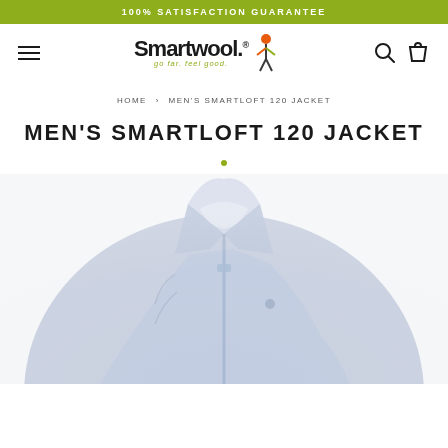100% SATISFACTION GUARANTEE
[Figure (logo): Smartwool logo with tagline 'go far. feel good.' and a colorful character figure]
HOME > MEN'S SMARTLOFT 120 JACKET
MEN'S SMARTLOFT 120 JACKET
[Figure (photo): Product photo of a light blue/grey Men's Smartloft 120 Jacket, showing the collar and upper body of the jacket, slightly blurred]